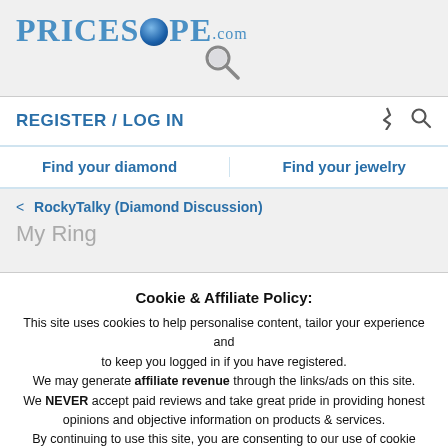[Figure (logo): PriceScope.com logo with globe replacing the O and a magnifying glass below]
REGISTER  /  LOG IN
Find your diamond    Find your jewelry
< RockyTalky (Diamond Discussion)
My Ring
Cookie & Affiliate Policy:
This site uses cookies to help personalise content, tailor your experience and to keep you logged in if you have registered.
We may generate affiliate revenue through the links/ads on this site.
We NEVER accept paid reviews and take great pride in providing honest opinions and objective information on products & services.
By continuing to use this site, you are consenting to our use of cookie policy.